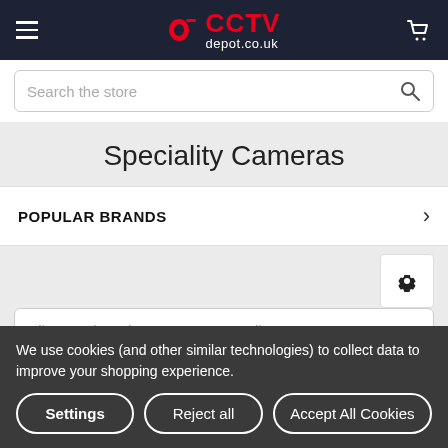[Figure (logo): CCTV depot.co.uk logo with red icon on dark navy header bar with hamburger menu and cart icon]
Search the store
Speciality Cameras
POPULAR BRANDS
[Figure (infographic): Settings gear icon button on gray background]
Filter products by name, SKU, attributes...
We use cookies (and other similar technologies) to collect data to improve your shopping experience.
Settings
Reject all
Accept All Cookies